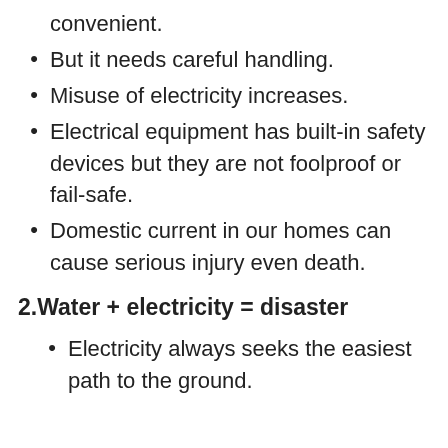convenient.
But it needs careful handling.
Misuse of electricity increases.
Electrical equipment has built-in safety devices but they are not foolproof or fail-safe.
Domestic current in our homes can cause serious injury even death.
2.Water + electricity = disaster
Electricity always seeks the easiest path to the ground.